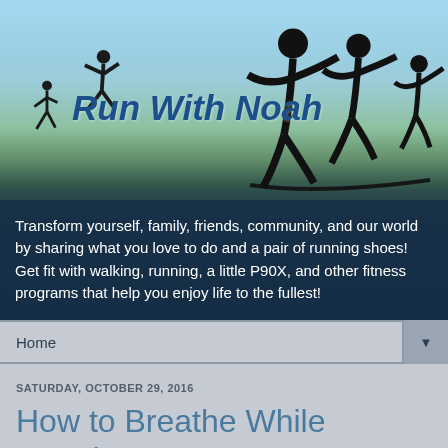[Figure (illustration): Run With Noah blog header banner with runner silhouettes, sky and landscape background, italic bold logo text 'Run With Noah', and tagline text overlay on dark blue background]
Transform yourself, family, friends, community, and our world by sharing what you love to do and a pair of running shoes! Get fit with walking, running, a little P90X, and other fitness programs that help you enjoy life to the fullest!
Home
SATURDAY, OCTOBER 29, 2016
How to Breathe While Running